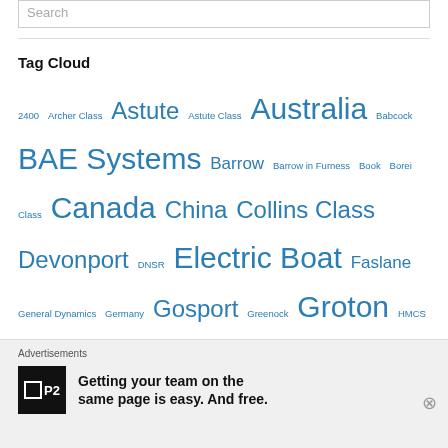Search
Tag Cloud
2400 Archer Class Astute Astute Class Australia Babcock BAE Systems Barrow Barrow in Furness Book Borei Class Canada China Collins Class Devonport DNSR Electric Boat Faslane General Dynamics Germany Gosport Greenock Groton HMCS Chicoutimi HMCS Corner Brook HMCS Victoria HMCS Windsor HMS Alliance HMS Ambush HMS Astute HMS Onyx HMS Opossum HMS Talent HMS Tireless HMS Trenchant HMS Triumph HMS Vigilant Ian Molyneux India INS Arihant Iran Israel Japan Kilo Class MoD museum Nuclear Oberon Class Ohio Class Plymouth Royal Navy Royal Navy Submarine Museum
Advertisements
Getting your team on the same page is easy. And free.